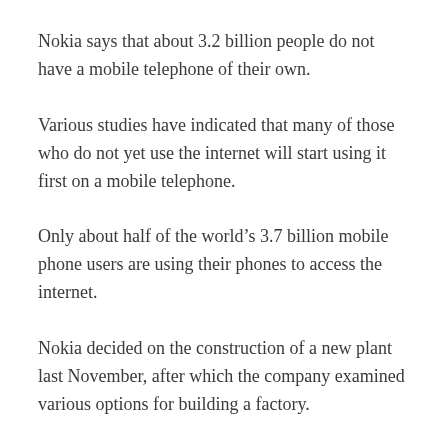Nokia says that about 3.2 billion people do not have a mobile telephone of their own.
Various studies have indicated that many of those who do not yet use the internet will start using it first on a mobile telephone.
Only about half of the world’s 3.7 billion mobile phone users are using their phones to access the internet.
Nokia decided on the construction of a new plant last November, after which the company examined various options for building a factory.
“The location of Vietnam is good from the point of view of the markets. The infrastructure is excellent,